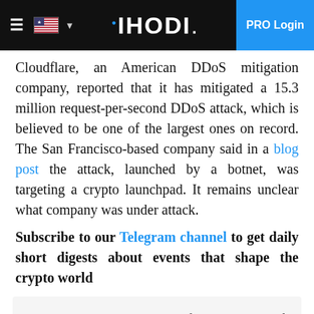IHODI. PRO Login
Cloudflare, an American DDoS mitigation company, reported that it has mitigated a 15.3 million request-per-second DDoS attack, which is believed to be one of the largest ones on record. The San Francisco-based company said in a blog post the attack, launched by a botnet, was targeting a crypto launchpad. It remains unclear what company was under attack.
Subscribe to our Telegram channel to get daily short digests about events that shape the crypto world
"This attack was launched from a botnet of approximately 6,000 unique bots. It